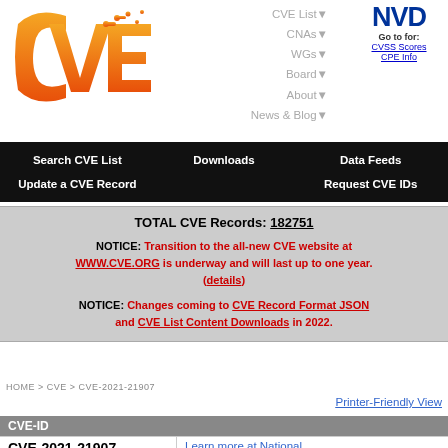[Figure (logo): CVE logo - orange gradient letters CVE with circuit-board dot pattern]
CVE List▼  CNAs▼  WGs▼  Board▼  About▼  News & Blog▼
[Figure (logo): NVD logo - dark blue bold letters NVD with Go to: CVSS Scores, CPE Info links]
Search CVE List    Downloads    Data Feeds    Update a CVE Record    Request CVE IDs
TOTAL CVE Records: 182751
NOTICE: Transition to the all-new CVE website at WWW.CVE.ORG is underway and will last up to one year. (details)
NOTICE: Changes coming to CVE Record Format JSON and CVE List Content Downloads in 2022.
HOME > CVE > CVE-2021-21907
Printer-Friendly View
| CVE-ID |  |
| --- | --- |
| CVE-2021-21907 | Learn more at National |